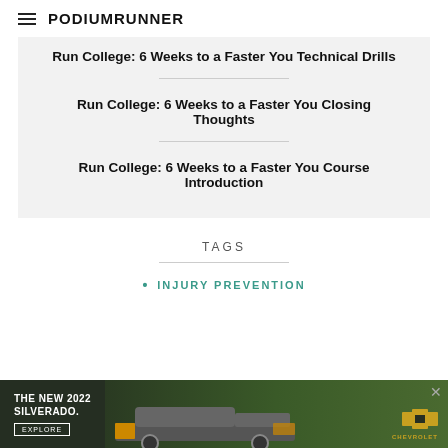PodiumRunner
Run College: 6 Weeks to a Faster You Technical Drills
Run College: 6 Weeks to a Faster You Closing Thoughts
Run College: 6 Weeks to a Faster You Course Introduction
TAGS
INJURY PREVENTION
[Figure (photo): Advertisement banner for The New 2022 Silverado by Chevrolet, showing a truck with Explore button]